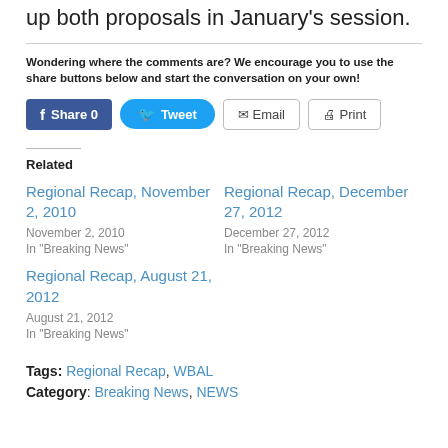would still the economy. The General Assembly will take up both proposals in January's session.
Wondering where the comments are? We encourage you to use the share buttons below and start the conversation on your own!
Share 0  Tweet  Email  Print
Related
Regional Recap, November 2, 2010
November 2, 2010
In "Breaking News"
Regional Recap, December 27, 2012
December 27, 2012
In "Breaking News"
Regional Recap, August 21, 2012
August 21, 2012
In "Breaking News"
Tags: Regional Recap, WBAL  Category: Breaking News, NEWS